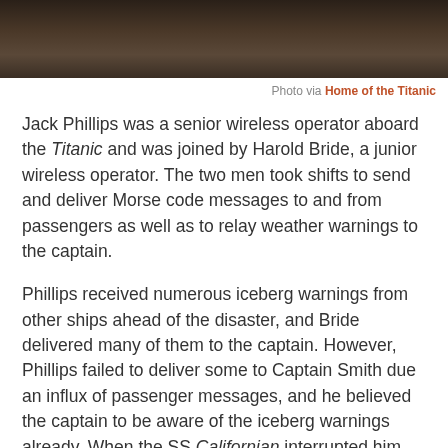[Figure (photo): Sepia-toned historical photograph, partially visible at top of page, showing a dark blurred background with indistinct figures]
Photo via Home of the Titanic
Jack Phillips was a senior wireless operator aboard the Titanic and was joined by Harold Bride, a junior wireless operator. The two men took shifts to send and deliver Morse code messages to and from passengers as well as to relay weather warnings to the captain.
Phillips received numerous iceberg warnings from other ships ahead of the disaster, and Bride delivered many of them to the captain. However, Phillips failed to deliver some to Captain Smith due an influx of passenger messages, and he believed the captain to be aware of the iceberg warnings already. When the SS Californian interrupted him with an iceberg warning, he replied, “Shut up! I’m busy working Cape Race!” Therefore, some people have criticized Phillips’s role in the disaster.